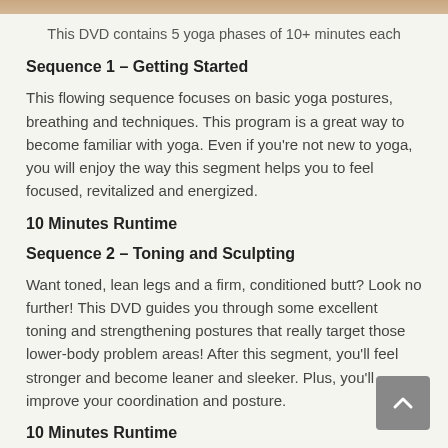[Figure (photo): Thin decorative image strip at the top of the page, a narrow warm tan/brown band]
This DVD contains 5 yoga phases of 10+ minutes each
Sequence 1 – Getting Started
This flowing sequence focuses on basic yoga postures, breathing and techniques. This program is a great way to become familiar with yoga. Even if you're not new to yoga, you will enjoy the way this segment helps you to feel focused, revitalized and energized.
10 Minutes Runtime
Sequence 2 – Toning and Sculpting
Want toned, lean legs and a firm, conditioned butt? Look no further! This DVD guides you through some excellent toning and strengthening postures that really target those lower-body problem areas! After this segment, you'll feel stronger and become leaner and sleeker. Plus, you'll improve your coordination and posture.
10 Minutes Runtime